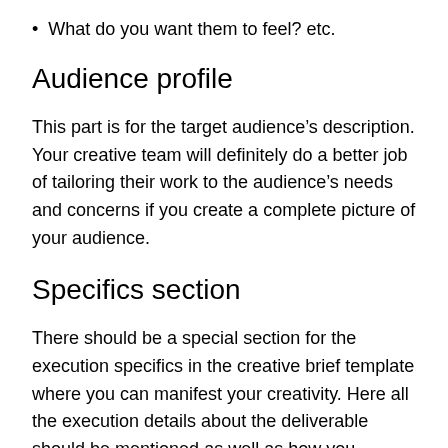What do you want them to feel? etc.
Audience profile
This part is for the target audience's description. Your creative team will definitely do a better job of tailoring their work to the audience's needs and concerns if you create a complete picture of your audience.
Specifics section
There should be a special section for the execution specifics in the creative brief template where you can manifest your creativity. Here all the execution details about the deliverable should be mentioned as well as how you communicate your message. These notes may include tone, messages, visuals, and other details.